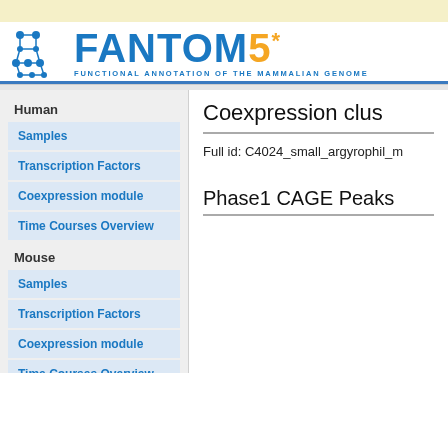[Figure (logo): FANTOM5 logo - Functional Annotation of the Mammalian Genome, with blue molecular network icon, blue FANTOM text, orange 5 and asterisk]
Human
Samples
Transcription Factors
Coexpression module
Time Courses Overview
Mouse
Samples
Transcription Factors
Coexpression module
Time Courses Overview
Coexpression clus
Full id: C4024_small_argyrophil_m
Phase1 CAGE Peaks